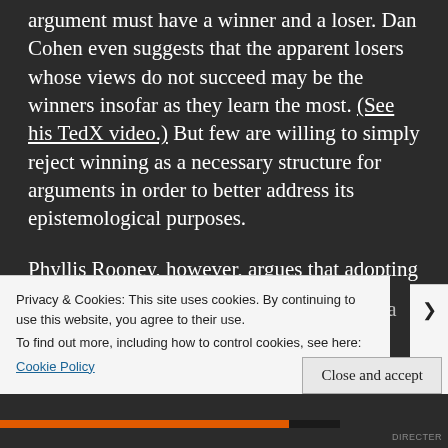argument must have a winner and a loser. Dan Cohen even suggests that the apparent losers whose views do not succeed may be the winners insofar as they learn the most. (See his TedX video.) But few are willing to simply reject winning as a necessary structure for arguments in order to better address its epistemological purposes.
Phyllis Rooney, however, argues that adopting explicitly epistemological values provides a
Privacy & Cookies: This site uses cookies. By continuing to use this website, you agree to their use.
To find out more, including how to control cookies, see here:
Cookie Policy
Close and accept